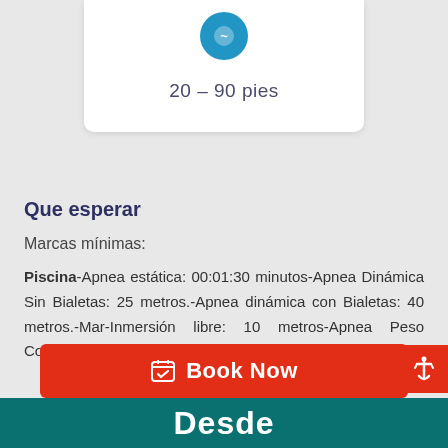[Figure (illustration): White card with a circular blue icon at top and depth range text '20 – 90 pies']
20 – 90 pies
Que esperar
Marcas mínimas:
Piscina-Apnea estática: 00:01:30 minutos-Apnea Dinámica Sin Bialetas: 25 metros.-Apnea dinámica con Bialetas: 40 metros.-Mar-Inmersión libre: 10 metros-Apnea Peso Constante Bialetas: 10 metros.
[Figure (other): Red 'Book Now' button with calendar icon]
Desde